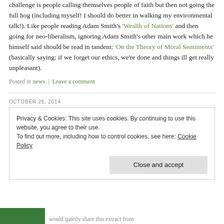challenge is people calling themselves people of faith but then not going the full hog (including myself! I should do better in walking my environmental talk!). Like people reading Adam Smith’s ‘Wealth of Nations’ and then going for neo-liberalism, ignoring Adam Smith’s other main work which he himself said should be read in tandem: ‘On the Theory of Moral Sentiments’ (basically saying: if we forget our ethics, we’re done and things ill get really unpleasant).
Posted in news | Leave a comment
OCTOBER 26, 2014
Privacy & Cookies: This site uses cookies. By continuing to use this website, you agree to their use.
To find out more, including how to control cookies, see here: Cookie Policy
Close and accept
would quietly share this extract from